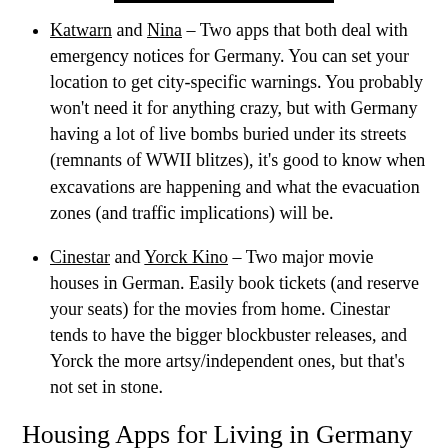Katwarn and Nina – Two apps that both deal with emergency notices for Germany. You can set your location to get city-specific warnings. You probably won't need it for anything crazy, but with Germany having a lot of live bombs buried under its streets (remnants of WWII blitzes), it's good to know when excavations are happening and what the evacuation zones (and traffic implications) will be.
Cinestar and Yorck Kino – Two major movie houses in German. Easily book tickets (and reserve your seats) for the movies from home. Cinestar tends to have the bigger blockbuster releases, and Yorck the more artsy/independent ones, but that's not set in stone.
Housing Apps for Living in Germany